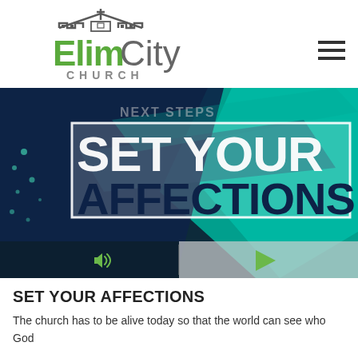[Figure (logo): Elim City Church logo with green church icon and text 'ElimCity CHURCH'. Elim in green, City in gray.]
[Figure (screenshot): Hero banner image for 'Set Your Affections' sermon series. Dark navy and teal/green abstract background with large bold text reading 'SET YOUR AFFECTIONS' in white with dark outlines. Media player controls visible at bottom with speaker icon and play button.]
SET YOUR AFFECTIONS
The church has to be alive today so that the world can see who God